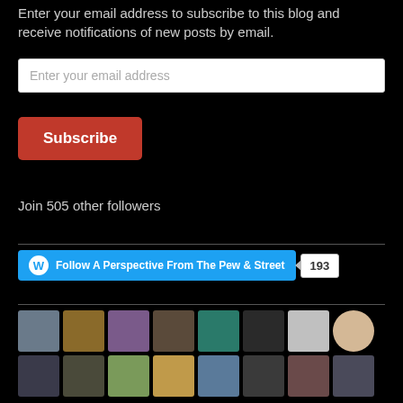Enter your email address to subscribe to this blog and receive notifications of new posts by email.
[Figure (screenshot): Email address input field with placeholder text 'Enter your email address']
[Figure (screenshot): Red Subscribe button]
Join 505 other followers
[Figure (screenshot): WordPress Follow button widget: 'Follow A Perspective From The Pew & Street' with follower count 193]
[Figure (photo): Grid of 16 avatar/profile thumbnails in two rows]